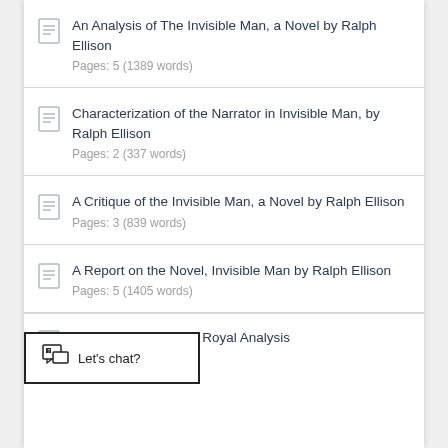An Analysis of The Invisible Man, a Novel by Ralph Ellison
Pages: 5 (1389 words)
Characterization of the Narrator in Invisible Man, by Ralph Ellison
Pages: 2 (337 words)
A Critique of the Invisible Man, a Novel by Ralph Ellison
Pages: 3 (839 words)
A Report on the Novel, Invisible Man by Ralph Ellison
Pages: 5 (1405 words)
Ralph Ellison's Battle Royal Analysis
Pages: 5 (1363 words)